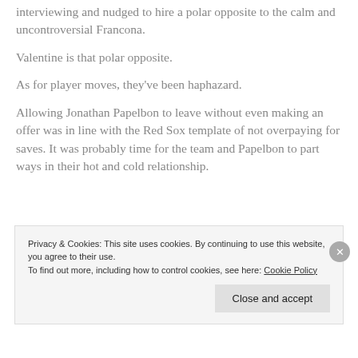interviewing and nudged to hire a polar opposite to the calm and uncontroversial Francona.
Valentine is that polar opposite.
As for player moves, they've been haphazard.
Allowing Jonathan Papelbon to leave without even making an offer was in line with the Red Sox template of not overpaying for saves. It was probably time for the team and Papelbon to part ways in their hot and cold relationship.
Privacy & Cookies: This site uses cookies. By continuing to use this website, you agree to their use.
To find out more, including how to control cookies, see here: Cookie Policy
Close and accept